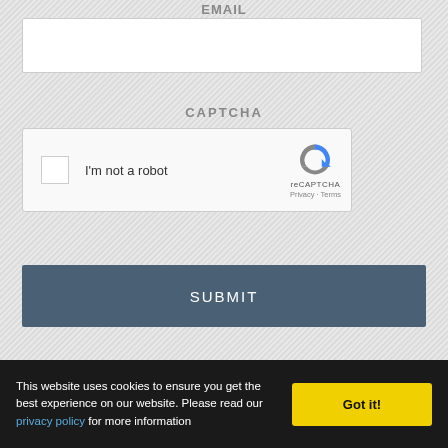EMAIL
[Figure (screenshot): Empty text input field for email]
CAPTCHA
[Figure (screenshot): reCAPTCHA widget with checkbox 'I'm not a robot' and reCAPTCHA logo with Privacy and Terms links]
[Figure (screenshot): SUBMIT button with dark blue/slate background and white text]
This website uses cookies to ensure you get the best experience on our website. Please read our privacy policy for more information